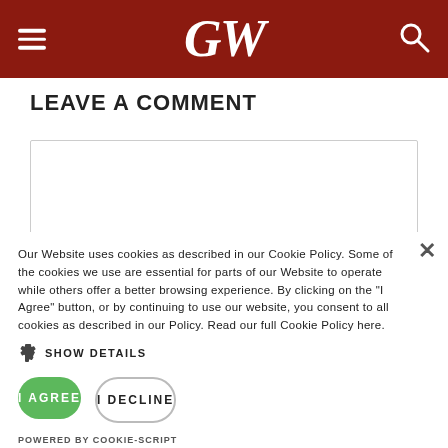GW
LEAVE A COMMENT
Our Website uses cookies as described in our Cookie Policy. Some of the cookies we use are essential for parts of our Website to operate while others offer a better browsing experience. By clicking on the "I Agree" button, or by continuing to use our website, you consent to all cookies as described in our Policy. Read our full Cookie Policy here.
SHOW DETAILS
I AGREE
I DECLINE
POWERED BY COOKIE-SCRIPT